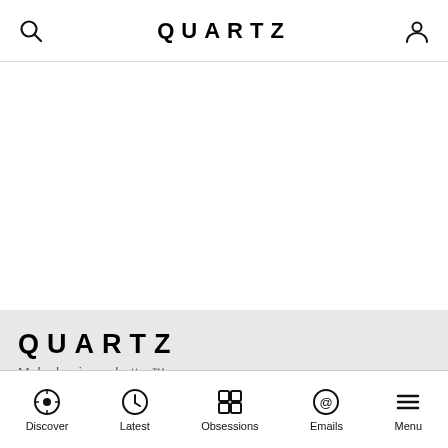QUARTZ
[Figure (logo): Quartz logo and tagline: Make business better™]
Discover  Latest  Obsessions  Emails  Menu